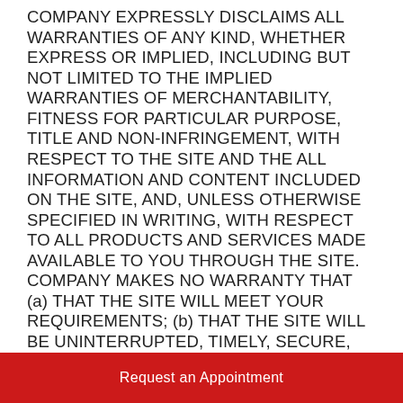COMPANY EXPRESSLY DISCLAIMS ALL WARRANTIES OF ANY KIND, WHETHER EXPRESS OR IMPLIED, INCLUDING BUT NOT LIMITED TO THE IMPLIED WARRANTIES OF MERCHANTABILITY, FITNESS FOR PARTICULAR PURPOSE, TITLE AND NON-INFRINGEMENT, WITH RESPECT TO THE SITE AND THE ALL INFORMATION AND CONTENT INCLUDED ON THE SITE, AND, UNLESS OTHERWISE SPECIFIED IN WRITING, WITH RESPECT TO ALL PRODUCTS AND SERVICES MADE AVAILABLE TO YOU THROUGH THE SITE. COMPANY MAKES NO WARRANTY THAT (a) THAT THE SITE WILL MEET YOUR REQUIREMENTS; (b) THAT THE SITE WILL BE UNINTERRUPTED, TIMELY, SECURE, ERROR-FREE, OR FREE FROM VIRUSES, “TROJAN HORSES,” OR OTHER MALICIOUS CODE; (c) THAT THE RESULTS THAT MAY BE OBTAINED FROM THE USE OF THE SITE WILL BE ACCURATE OR
Request an Appointment